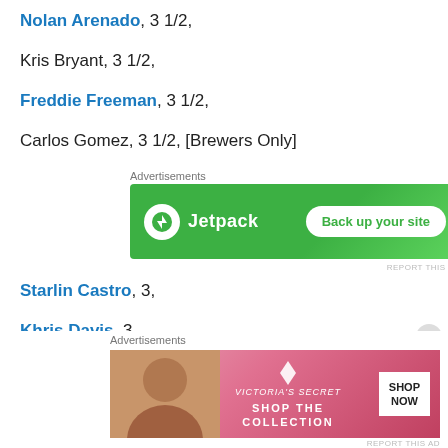Nolan Arenado, 3 1/2,
Kris Bryant, 3 1/2,
Freddie Freeman, 3 1/2,
Carlos Gomez, 3 1/2, [Brewers Only]
[Figure (screenshot): Jetpack advertisement banner: green background with Jetpack logo and 'Back up your site' button]
Starlin Castro, 3,
Khris Davis, 3,
[Figure (screenshot): Victoria's Secret advertisement banner with model photo, 'SHOP THE COLLECTION' text and 'SHOP NOW' button]